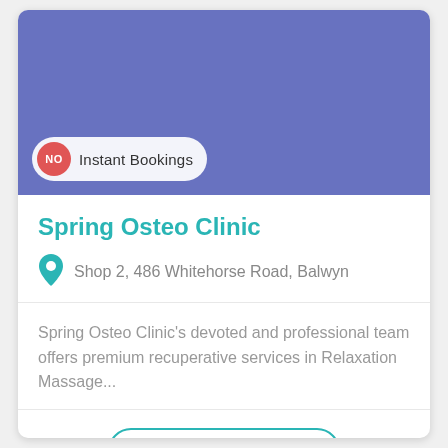[Figure (photo): Blue/purple colored background image area representing the clinic header photo]
NO Instant Bookings
Spring Osteo Clinic
Shop 2, 486 Whitehorse Road, Balwyn
Spring Osteo Clinic's devoted and professional team offers premium recuperative services in Relaxation Massage...
FIND OUT MORE